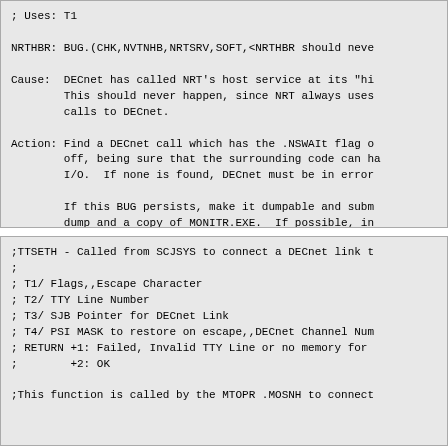; Uses: T1

NRTHBR: BUG.(CHK,NVTNHB,NRTSRV,SOFT,<NRTHBR should neve

Cause:  DECnet has called NRT's host service at its "hi
        This should never happen, since NRT always uses
        calls to DECnet.

Action: Find a DECnet call which has the .NSWAIt flag o
        off, being sure that the surrounding code can ha
        I/O.  If none is found, DECnet must be in error

        If this BUG persists, make it dumpable and subm
        dump and a copy of MONITR.EXE.  If possible, in
        method for reproducing the problem and/or the s
        at the time the BUG was observed.
>)
;TTSETH - Called from SCJSYS to connect a DECnet link t
;
; T1/ Flags,,Escape Character
; T2/ TTY Line Number
; T3/ SJB Pointer for DECnet Link
; T4/ PSI MASK to restore on escape,,DECnet Channel Num
; RETURN +1: Failed, Invalid TTY Line or no memory for
;        +2: OK

;This function is called by the MTOPR .MOSNH to connect